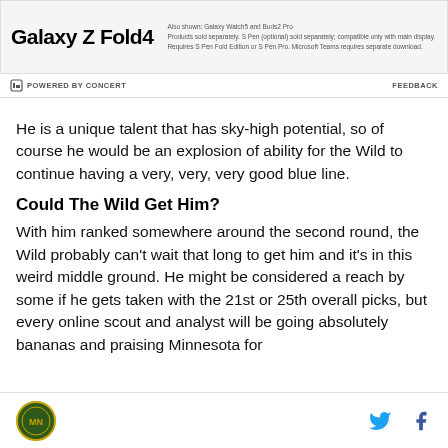[Figure (advertisement): Samsung Galaxy Z Fold4 advertisement banner with product name on left and disclaimer text on right]
POWERED BY CONCERT   FEEDBACK
He is a unique talent that has sky-high potential, so of course he would be an explosion of ability for the Wild to continue having a very, very, very good blue line.
Could The Wild Get Him?
With him ranked somewhere around the second round, the Wild probably can't wait that long to get him and it's in this weird middle ground. He might be considered a reach by some if he gets taken with the 21st or 25th overall picks, but every online scout and analyst will be going absolutely bananas and praising Minnesota for